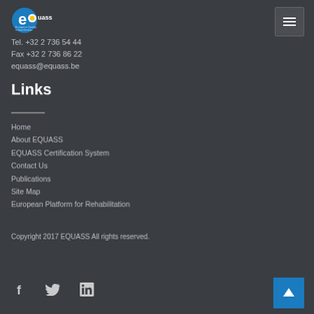[Figure (logo): eQUASS logo — circular blue/yellow icon with 'eQuass' text]
Tel. +32 2 736 54 44
Fax +32 2 736 86 22
equass@equass.be
Links
Home
About EQUASS
EQUASS Certification System
Contact Us
Publications
Site Map
European Platform for Rehabilitation
Copyright 2017 EQUASS All rights reserved.